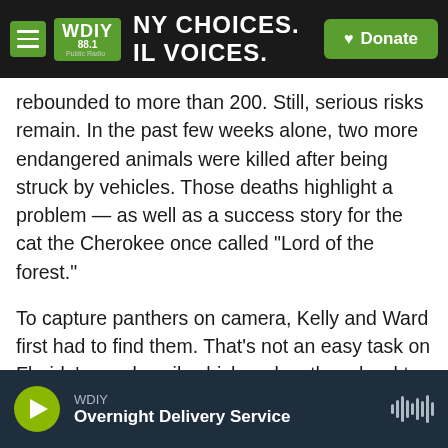WDIY 88.1 | MANY CHOICES. LOCAL VOICES. | Donate
rebounded to more than 200. Still, serious risks remain. In the past few weeks alone, two more endangered animals were killed after being struck by vehicles. Those deaths highlight a problem — as well as a success story for the cat the Cherokee once called "Lord of the forest."
To capture panthers on camera, Kelly and Ward first had to find them. That's not an easy task on Florida's sandy soil, which makes them hard to track. You have to find really fresh tracks, Kelly said.
"First things first is identifying the track and
WDIY — Overnight Delivery Service